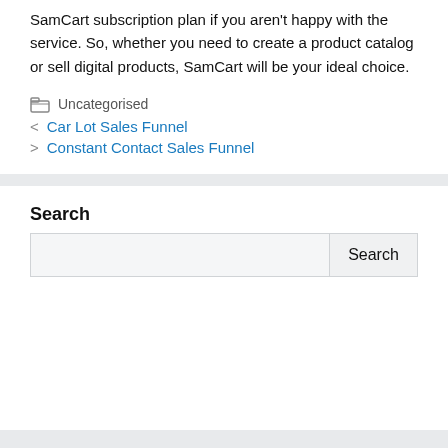SamCart subscription plan if you aren't happy with the service. So, whether you need to create a product catalog or sell digital products, SamCart will be your ideal choice.
Uncategorised
Car Lot Sales Funnel
Constant Contact Sales Funnel
Search